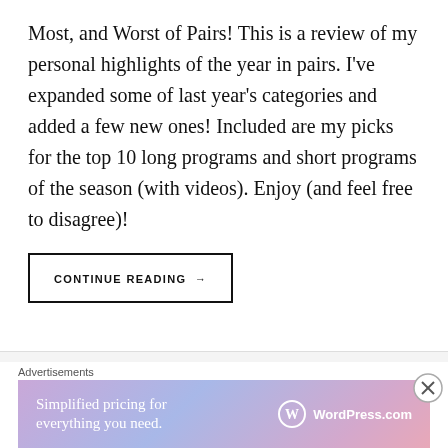Most, and Worst of Pairs! This is a review of my personal highlights of the year in pairs. I’ve expanded some of last year’s categories and added a few new ones! Included are my picks for the top 10 long programs and short programs of the season (with videos). Enjoy (and feel free to disagree)!
CONTINUE READING →
A Perfect Program: Patrick
Advertisements
Simplified pricing for everything you need. WordPress.com